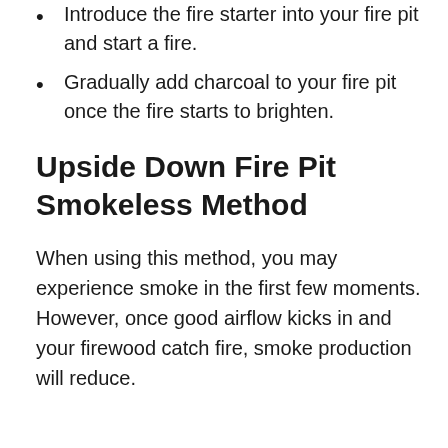Introduce the fire starter into your fire pit and start a fire.
Gradually add charcoal to your fire pit once the fire starts to brighten.
Upside Down Fire Pit Smokeless Method
When using this method, you may experience smoke in the first few moments. However, once good airflow kicks in and your firewood catch fire, smoke production will reduce.